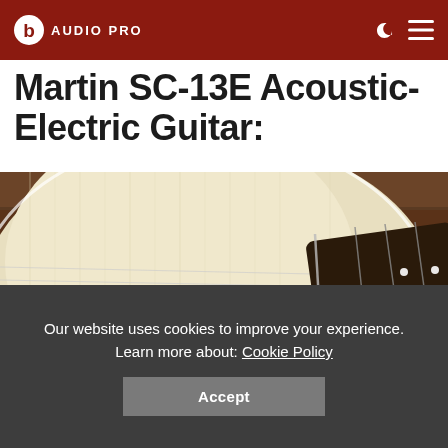b AUDIO PRO
Martin SC-13E Acoustic-Electric Guitar:
[Figure (photo): Close-up photo of a Martin SC-13E acoustic-electric guitar body, showing the natural spruce top, sound hole with rosette, bridge, tortoiseshell pickguard, and part of the fretboard, set against a dark wood background.]
Our website uses cookies to improve your experience. Learn more about: Cookie Policy
Accept